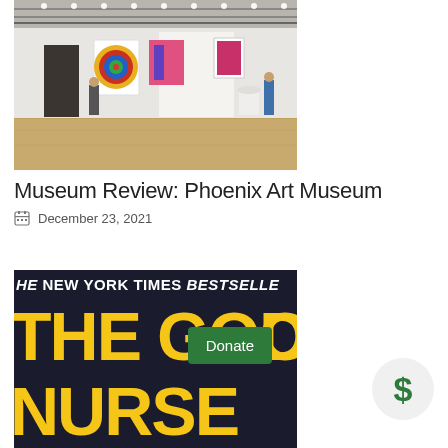[Figure (photo): Interior of the Phoenix Art Museum gallery showing white walls, track lighting on ceiling, colorful artworks hanging on walls, and visitors viewing the art on a light wood floor.]
Museum Review: Phoenix Art Museum
December 23, 2021
[Figure (photo): Book cover of 'The Good Nurse' — New York Times Bestseller, dark navy background with large bold yellow/gold text reading 'THE GOOD NURSE', partially cropped.]
Donate
$